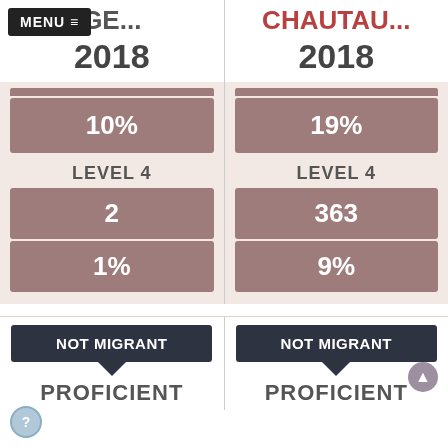MENU ≡
GE... 2018
CHAUTAU... 2018
10%
LEVEL 4
2
1%
19%
LEVEL 4
363
9%
NOT MIGRANT
NOT MIGRANT
PROFICIENT
PROFICIENT